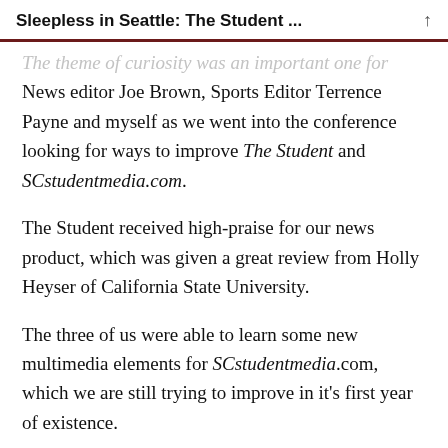Sleepless in Seattle: The Student ...
The theme of curiosity was an important one for News editor Joe Brown, Sports Editor Terrence Payne and myself as we went into the conference looking for ways to improve The Student and SCstudentmedia.com.
The Student received high-praise for our news product, which was given a great review from Holly Heyser of California State University.
The three of us were able to learn some new multimedia elements for SCstudentmedia.com, which we are still trying to improve in it's first year of existence.